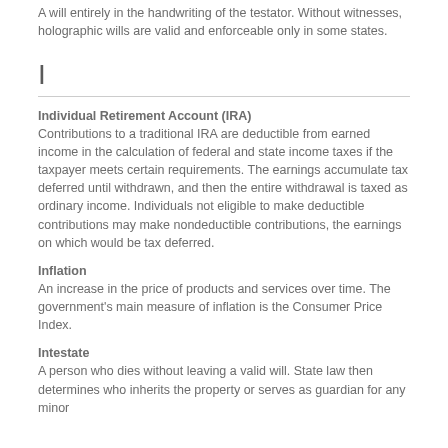A will entirely in the handwriting of the testator. Without witnesses, holographic wills are valid and enforceable only in some states.
I
Individual Retirement Account (IRA)
Contributions to a traditional IRA are deductible from earned income in the calculation of federal and state income taxes if the taxpayer meets certain requirements. The earnings accumulate tax deferred until withdrawn, and then the entire withdrawal is taxed as ordinary income. Individuals not eligible to make deductible contributions may make nondeductible contributions, the earnings on which would be tax deferred.
Inflation
An increase in the price of products and services over time. The government's main measure of inflation is the Consumer Price Index.
Intestate
A person who dies without leaving a valid will. State law then determines who inherits the property or serves as guardian for any minor